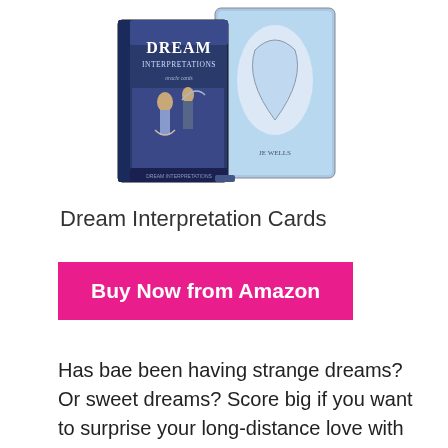[Figure (photo): Product photo showing Dream Interpretation oracle card deck — a box with 'DREAM INTERPRETATIONS oracle cards' text and illustrated fantasy artwork featuring figures, alongside spread tarot-style cards]
Dream Interpretation Cards
Buy Now from Amazon
Has bae been having strange dreams? Or sweet dreams? Score big if you want to surprise your long-distance love with